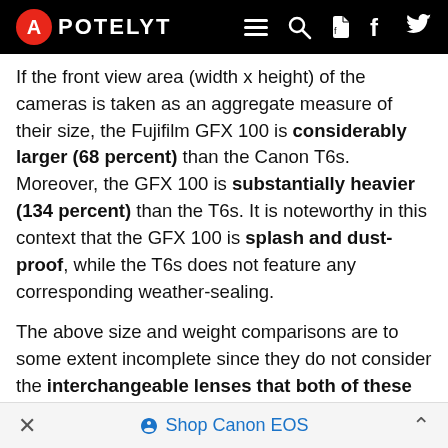APOTELYT
If the front view area (width x height) of the cameras is taken as an aggregate measure of their size, the Fujifilm GFX 100 is considerably larger (68 percent) than the Canon T6s. Moreover, the GFX 100 is substantially heavier (134 percent) than the T6s. It is noteworthy in this context that the GFX 100 is splash and dust-proof, while the T6s does not feature any corresponding weather-sealing.
The above size and weight comparisons are to some extent incomplete since they do not consider the interchangeable lenses that both of these cameras require. Hence, you might want to study and compare the specifications of available lenses in order to get the full picture of the size and weight of the two camera systems.
Concerning battery life, the T6s gets 440 shots out of its LP-E17 battery, while the GFX 100 can take 800 images on a single charge of its NP-T125 power pack. As can be seen
Shop Canon EOS